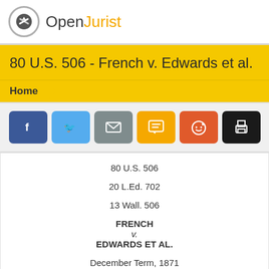OpenJurist
80 U.S. 506 - French v. Edwards et al.
Home
[Figure (other): Social sharing buttons: Facebook, Twitter, Email, SMS, Reddit, Print]
80 U.S. 506
20 L.Ed. 702
13 Wall. 506
FRENCH
v.
EDWARDS ET AL.
December Term, 1871